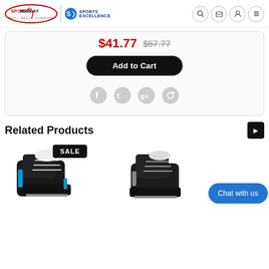[Figure (screenshot): Sports Replay and Sports Excellence logos with tagline BUY • SELL • CONSIGN • TRADE • RENT]
$41.77  $57.77
Add to Cart
[Figure (illustration): Social media icons: Facebook, Twitter, Google+, Pinterest]
Related Products
[Figure (photo): Ice hockey skate product image with SALE badge]
Chat with us